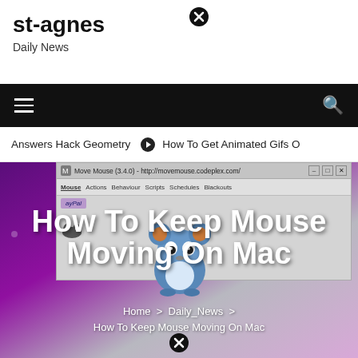st-agnes
Daily News
[Figure (screenshot): Website header with site name 'st-agnes', tagline 'Daily News', and a close button icon]
[Figure (screenshot): Black navigation bar with hamburger menu on left and search icon on right]
Answers Hack Geometry  ➔  How To Get Animated Gifs O
[Figure (screenshot): Hero image showing Move Mouse application window (3.4.0) with menu tabs: Mouse, Actions, Behaviour, Scripts, Schedules, Blackouts. Purple gradient background with cartoon mouse character. Title overlay reads 'How To Keep Mouse Moving On Mac'. Breadcrumb shows: Home > Daily_News > How To Keep Mouse Moving On Mac.]